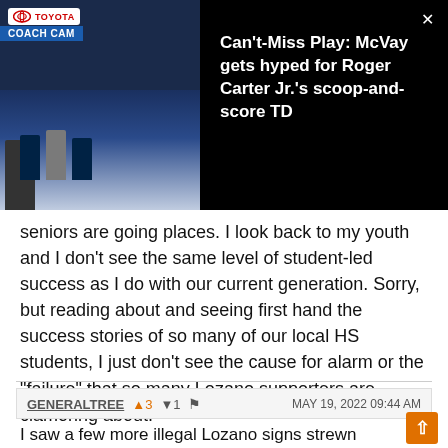[Figure (screenshot): Video overlay showing NFL coach cam footage with Toyota branding. Title reads: Can't-Miss Play: McVay gets hyped for Roger Carter Jr.'s scoop-and-score TD]
seniors are going places. I look back to my youth and I don't see the same level of student-led success as I do with our current generation. Sorry, but reading about and seeing first hand the success stories of so many of our local HS students, I just don't see the cause for alarm or the "failure" that so many Lozano supporters are clamoring about.
GENERALTREE  ▲3  ▼1  🚩  MAY 19, 2022 09:44 AM
I saw a few more illegal Lozano signs strewn